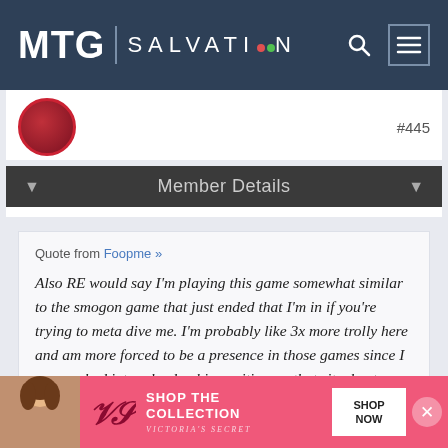MTG SALVATION
#445
Member Details
Quote from Foopme »

Also RE would say I'm playing this game somewhat similar to the smogon game that just ended that I'm in if you're trying to meta dive me. I'm probably like 3x more trolly here and am more forced to be a presence in those games since I was pushed into a leadership position on that site due to activity sluffers, but the lethargic-esque feeling is probably in part due to just overall burnout. I definitely gave a lot of reads in
[Figure (advertisement): Victoria's Secret advertisement banner with model photo, VS logo, 'SHOP THE COLLECTION' text, and 'SHOP NOW' button]